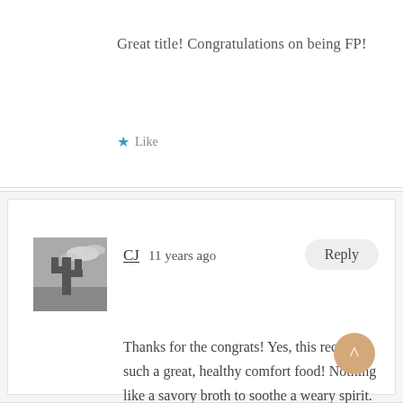Great title! Congratulations on being FP!
★ Like
CJ   11 years ago
Thanks for the congrats! Yes, this recipe is such a great, healthy comfort food! Nothing like a savory broth to soothe a weary spirit.